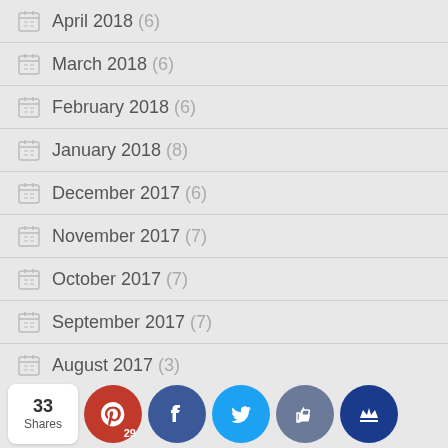April 2018 (6)
March 2018 (6)
February 2018 (6)
January 2018 (8)
December 2017 (6)
November 2017 (7)
October 2017 (7)
September 2017 (7)
August 2017 (3)